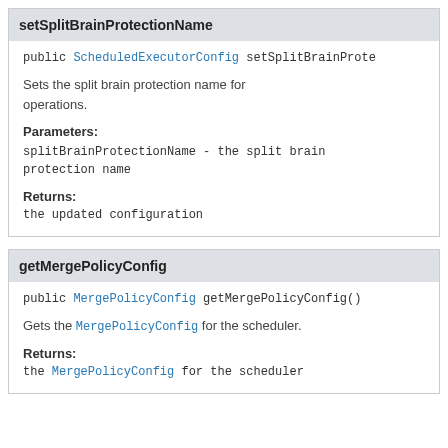setSplitBrainProtectionName
public ScheduledExecutorConfig setSplitBrainProte…
Sets the split brain protection name for operations.
Parameters:
splitBrainProtectionName - the split brain protection name
Returns:
the updated configuration
getMergePolicyConfig
public MergePolicyConfig getMergePolicyConfig()
Gets the MergePolicyConfig for the scheduler.
Returns:
the MergePolicyConfig for the scheduler